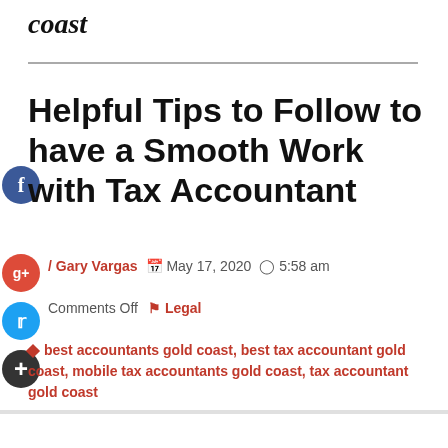coast
Helpful Tips to Follow to have a Smooth Work with Tax Accountant
/ Gary Vargas   May 17, 2020   5:58 am
Comments Off   Legal
best accountants gold coast, best tax accountant gold coast, mobile tax accountants gold coast, tax accountant gold coast